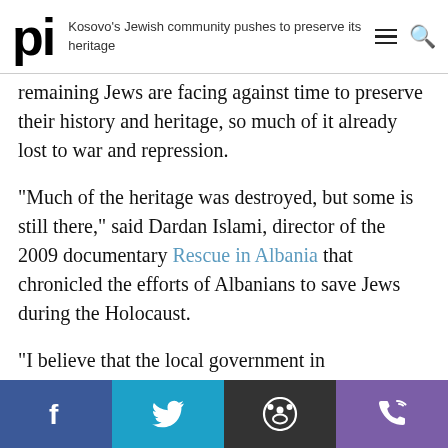Kosovo's Jewish community pushes to preserve its heritage
remaining Jews are facing against time to preserve their history and heritage, so much of it already lost to war and repression.
“Much of the heritage was destroyed, but some is still there,” said Dardan Islami, director of the 2009 documentary Rescue in Albania that chronicled the efforts of Albanians to save Jews during the Holocaust.
“I believe that the local government in